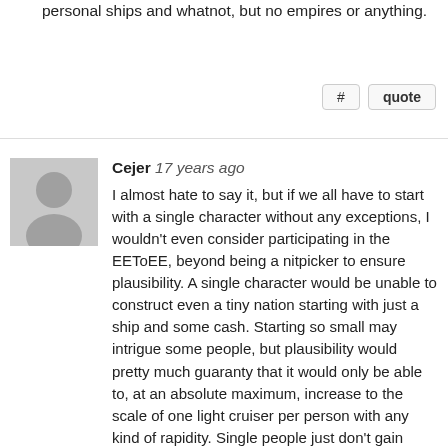personal ships and whatnot, but no empires or anything.
# quote
Cejer 17 years ago
[Figure (illustration): Generic user avatar placeholder — gray silhouette of a person on a light gray background]
I almost hate to say it, but if we all have to start with a single character without any exceptions, I wouldn't even consider participating in the EEToEE, beyond being a nitpicker to ensure plausibility. A single character would be unable to construct even a tiny nation starting with just a ship and some cash. Starting so small may intrigue some people, but plausibility would pretty much guaranty that it would only be able to, at an absolute maximum, increase to the scale of one light cruiser per person with any kind of rapidity. Single people just don't gain capital ships within a year.
I think we should, at a minimum, start in command of a taskforce (which are anywhere from 2-40